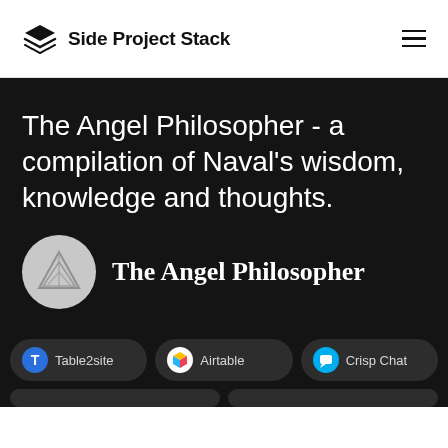Side Project Stack
The Angel Philosopher - a compilation of Naval's wisdom, knowledge and thoughts.
[Figure (logo): The Angel Philosopher circular logo with geometric triangle/layers mark on grey background]
The Angel Philosopher
Table2site  Airtable  Crisp Chat